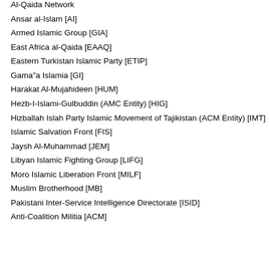Al-Qaida Network
Ansar al-Islam [AI]
Armed Islamic Group [GIA]
East Africa al-Qaida [EAAQ]
Eastern Turkistan Islamic Party [ETIP]
Gama"a Islamia [GI]
Harakat Al-Mujahideen [HUM]
Hezb-I-Islami-Gulbuddin (AMC Entity) [HIG]
Hizballah Islah Party Islamic Movement of Tajikistan (ACM Entity) [IMT]
Islamic Salvation Front [FIS]
Jaysh Al-Muhammad [JEM]
Libyan Islamic Fighting Group [LIFG]
Moro Islamic Liberation Front [MILF]
Muslim Brotherhood [MB]
Pakistani Inter-Service Intelligence Directorate [ISID]
Anti-Coalition Militia [ACM]